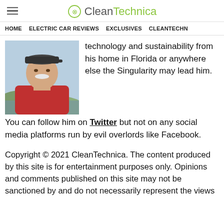CleanTechnica
HOME   ELECTRIC CAR REVIEWS   EXCLUSIVES   CLEANTECHN
[Figure (photo): Headshot of an older man wearing a dark baseball cap and red shirt, with a landscape background]
technology and sustainability from his home in Florida or anywhere else the Singularity may lead him. You can follow him on Twitter but not on any social media platforms run by evil overlords like Facebook.
Copyright © 2021 CleanTechnica. The content produced by this site is for entertainment purposes only. Opinions and comments published on this site may not be sanctioned by and do not necessarily represent the views